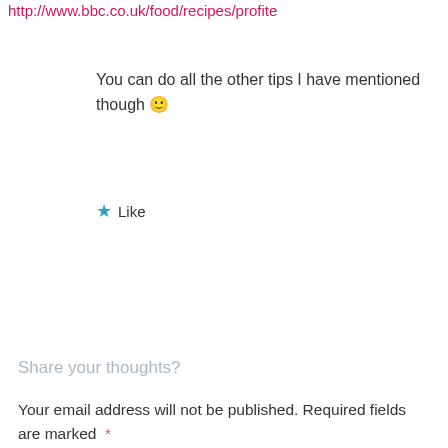http://www.bbc.co.uk/food/recipes/profite
You can do all the other tips I have mentioned though 🙂
★ Like
Share your thoughts?
Your email address will not be published. Required fields are marked *
COMMENT *